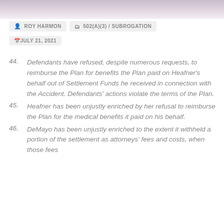[Figure (photo): Blurred photo header image at top of page]
ROY HARMON   502(A)(3) / SUBROGATION   JULY 21, 2021
44. Defendants have refused, despite numerous requests, to reimburse the Plan for benefits the Plan paid on Heafner's behalf out of Settlement Funds he received in connection with the Accident. Defendants' actions violate the terms of the Plan.
45. Heafner has been unjustly enriched by her refusal to reimburse the Plan for the medical benefits it paid on his behalf.
46. DeMayo has been unjustly enriched to the extent it withheld a portion of the settlement as attorneys' fees and costs, when those fees